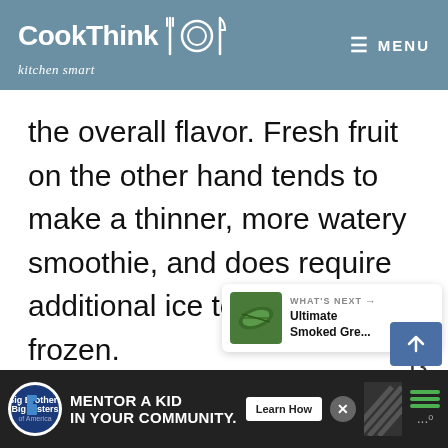CookThink kitchen smart — MENU
the overall flavor. Fresh fruit on the other hand tends to make a thinner, more watery smoothie, and does require additional ice to make it frozen.
[Figure (infographic): Heart/like button with count 13 and share button on right sidebar]
[Figure (infographic): What's Next card showing Ultimate Smoked Gre... with green food thumbnail]
[Figure (infographic): Advertisement bar: Big Brothers Big Sisters - Mentor a Kid in Your Community with Learn How button]